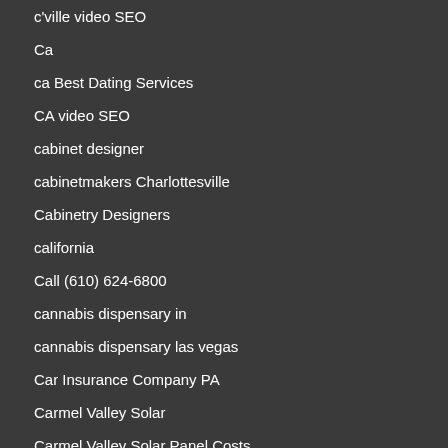c'ville video SEO
Ca
ca Best Dating Services
CA video SEO
cabinet designer
cabinetmakers Charlottesville
Cabinetry Designers
california
Call (610) 624-6800
cannabis dispensary in
cannabis dispensary las vegas
Car Insurance Company PA
Carmel Valley Solar
Carmel Valley Solar Panel Costs
Carmel Valley Solar Panel Installation
Carmel Valley Solar Power Companies
Carmel Valley Solar Tax Credit